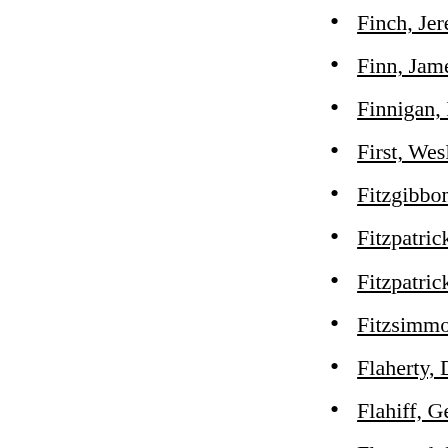Finch, Jeremiah Stanton,
Finn, James Daniel, 1924-
Finnigan, Ed
First, Wesley, 1920-
Fitzgibbon, Robert J.
Fitzpatrick, Leonard T.
Fitzpatrick, Patricia, Sr.,
Fitzsimmons, James
Flaherty, Daniel L., Fr., S
Flahiff, George Bernard,
Flamand, Paul  see "Tadi
Flanagan, James T.
Flanagan, Raymond, Fr.,
Flavian, Dom, O.C.S.O.
Floersh, John Alexander,